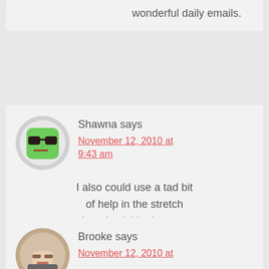wonderful daily emails.
Shawna says
November 12, 2010 at 9:43 am
[Figure (illustration): Avatar of Shawna: green cartoon face with sunglasses]
I also could use a tad bit of help in the stretch mark and wrinkle department.
Brooke says
November 12, 2010 at